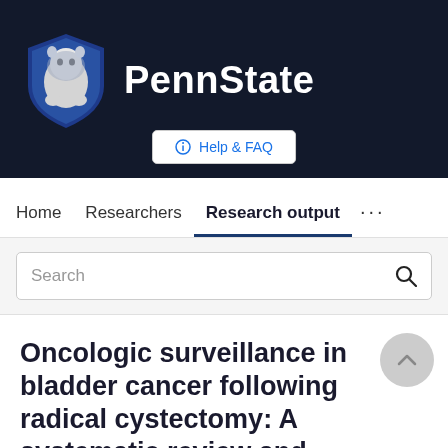[Figure (logo): Penn State University logo with lion mascot shield and white PennState text on dark navy background]
Help & FAQ
Home   Researchers   Research output   ...
Search
Oncologic surveillance in bladder cancer following radical cystectomy: A systematic review and meta-analysis